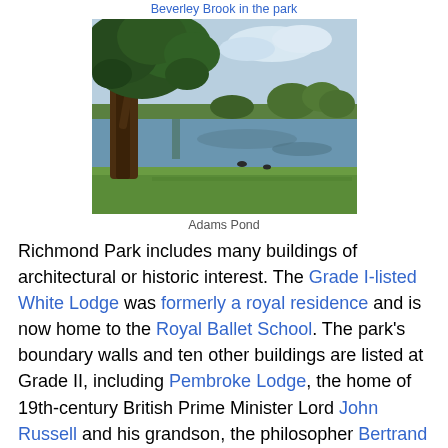Beverley Brook in the park
[Figure (photo): Adams Pond in Richmond Park — a large pond with trees reflected in calm water, a large oak tree on the left, green grass in the foreground, and a partly cloudy sky.]
Adams Pond
Richmond Park includes many buildings of architectural or historic interest. The Grade I-listed White Lodge was formerly a royal residence and is now home to the Royal Ballet School. The park's boundary walls and ten other buildings are listed at Grade II, including Pembroke Lodge, the home of 19th-century British Prime Minister Lord John Russell and his grandson, the philosopher Bertrand Russell. In 2020, Historic England also listed two other features in the park – King Henry's Mound which is